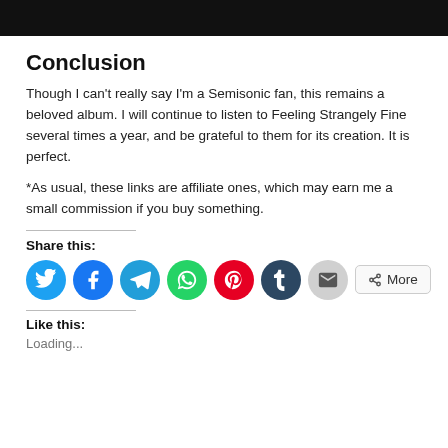[Figure (photo): Dark photo strip at top of page, partially cropped]
Conclusion
Though I can't really say I'm a Semisonic fan, this remains a beloved album. I will continue to listen to Feeling Strangely Fine several times a year, and be grateful to them for its creation. It is perfect.
*As usual, these links are affiliate ones, which may earn me a small commission if you buy something.
Share this:
Like this:
Loading...